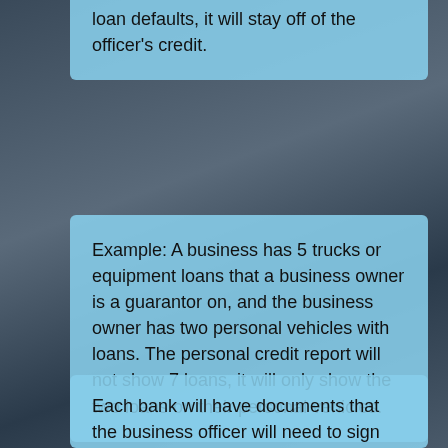loan defaults, it will stay off of the officer's credit.
Example: A business has 5 trucks or equipment loans that a business owner is a guarantor on, and the business owner has two personal vehicles with loans. The personal credit report will not show 7 loans, it will only show the two loans on their personal vehicles.
Each bank will have documents that the business officer will need to sign acknowledging that they understand payments will need to be made even if the